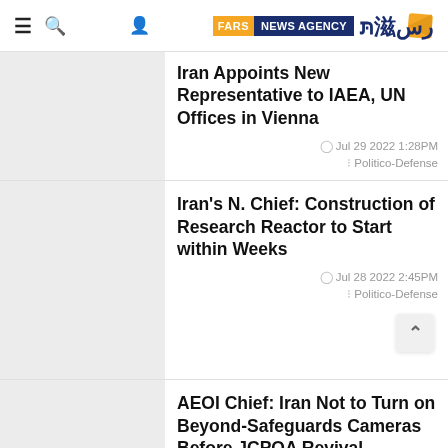Fars News Agency
Iran Appoints New Representative to IAEA, UN Offices in Vienna
Jul 29 2022 1:28PM
Politico-Defense
Iran's N. Chief: Construction of Research Reactor to Start within Weeks
Jul 28 2022 2:45PM
Politico-Defense
AEOI Chief: Iran Not to Turn on Beyond-Safeguards Cameras Before JCPOA Revival